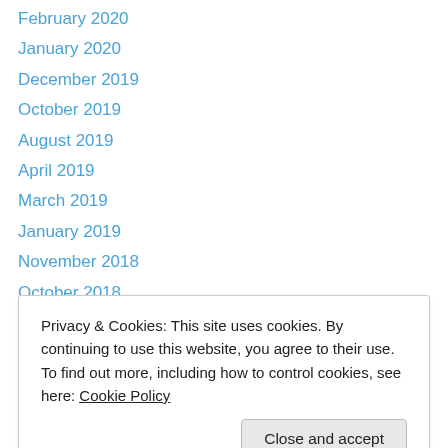February 2020
January 2020
December 2019
October 2019
August 2019
April 2019
March 2019
January 2019
November 2018
October 2018
September 2018
August 2018
January 2017
Privacy & Cookies: This site uses cookies. By continuing to use this website, you agree to their use.
To find out more, including how to control cookies, see here: Cookie Policy
Close and accept